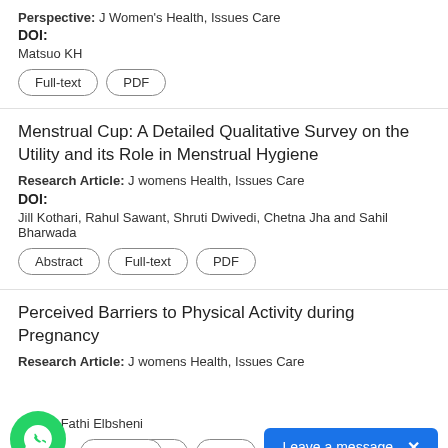Perspective: J Women's Health, Issues Care
DOI:
Matsuo KH
Full-text
PDF
Menstrual Cup: A Detailed Qualitative Survey on the Utility and its Role in Menstrual Hygiene
Research Article: J womens Health, Issues Care
DOI:
Jill Kothari, Rahul Sawant, Shruti Dwivedi, Chetna Jha and Sahil Bharwada
Abstract
Full-text
PDF
Perceived Barriers to Physical Activity during Pregnancy
Research Article: J womens Health, Issues Care
rzeghi, Fathi Elbsheni
Abstract
Full-text
PDF